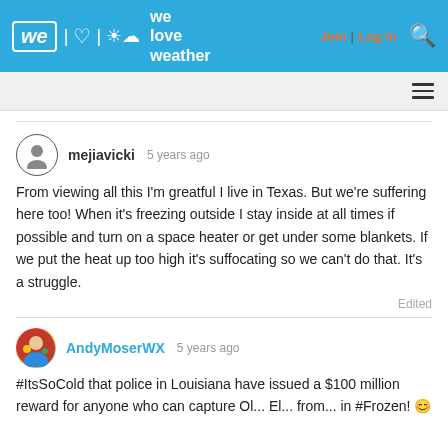we love weather | Join | Log In
mejiavicki 5 years ago
From viewing all this I'm greatful I live in Texas. But we're suffering here too! When it's freezing outside I stay inside at all times if possible and turn on a space heater or get under some blankets. If we put the heat up too high it's suffocating so we can't do that. It's a struggle.
Edited
AndyMoserWX 5 years ago
#ItsSoCold that police in Louisiana have issued a $100 million reward for anyone who can capture Ol... El... from... in #Frozen! 😊